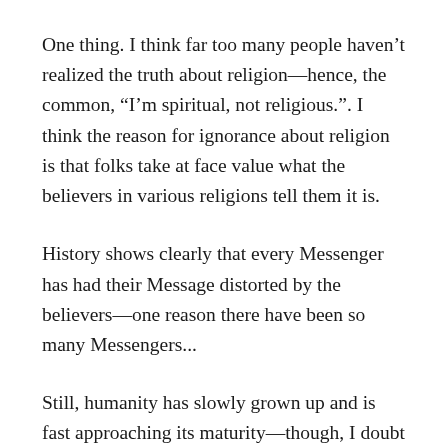One thing. I think far too many people haven't realized the truth about religion—hence, the common, “I’m spiritual, not religious.”. I think the reason for ignorance about religion is that folks take at face value what the believers in various religions tell them it is.
History shows clearly that every Messenger has had their Message distorted by the believers—one reason there have been so many Messengers...
Still, humanity has slowly grown up and is fast approaching its maturity—though, I doubt I'll